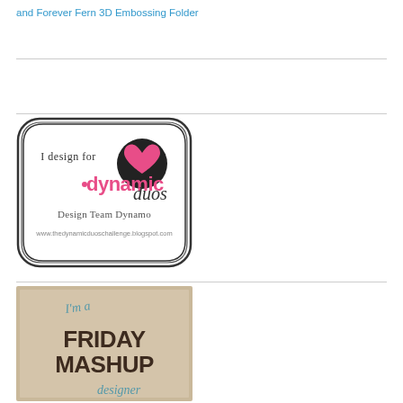and Forever Fern 3D Embossing Folder
[Figure (logo): Dynamic Duos Design Team Dynamo badge with decorative scalloped border, black circle with pink heart, pink 'dynamic' text, script 'duos', and website URL www.thedynamicduoschallenge.blogspot.com]
[Figure (logo): Friday Mashup designer badge with brown/tan background, script 'I'm a' text, bold dark brown 'FRIDAY MASHUP' text, and script 'designer' text below]